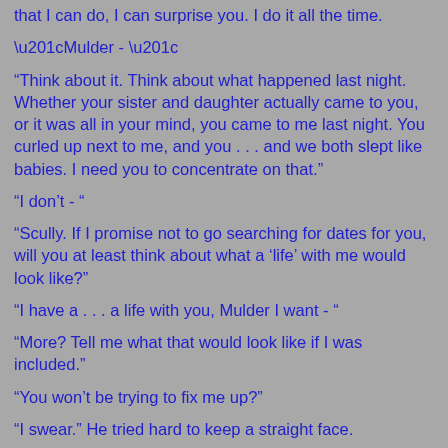that I can do, I can surprise you. I do it all the time.
“Mulder - “
“Think about it. Think about what happened last night. Whether your sister and daughter actually came to you, or it was all in your mind, you came to me last night. You curled up next to me, and you . . . and we both slept like babies. I need you to concentrate on that.”
“I don’t - “
“Scully. If I promise not to go searching for dates for you, will you at least think about what a ‘life’ with me would look like?”
“I have a . . . a life with you, Mulder I want - “
“More? Tell me what that would look like if I was included.”
“You won’t be trying to fix me up?”
“I swear.” He tried hard to keep a straight face.
“I . . . I need some time.”
“We’ve had seven years.”